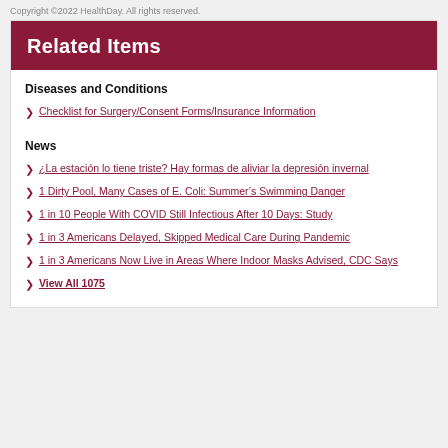Copyright © 2022 HealthDay. All rights reserved.
Related Items
Diseases and Conditions
Checklist for Surgery/Consent Forms/Insurance Information
News
¿La estación lo tiene triste? Hay formas de aliviar la depresión invernal
1 Dirty Pool, Many Cases of E. Coli: Summer's Swimming Danger
1 in 10 People With COVID Still Infectious After 10 Days: Study
1 in 3 Americans Delayed, Skipped Medical Care During Pandemic
1 in 3 Americans Now Live in Areas Where Indoor Masks Advised, CDC Says
View All 1075